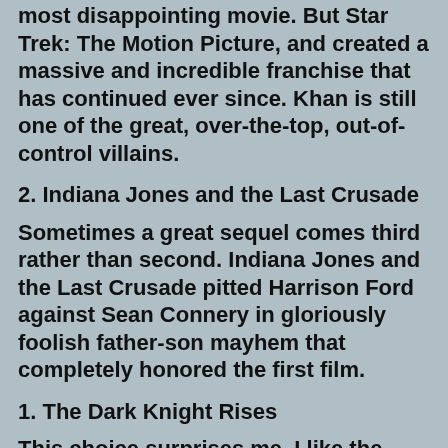most disappointing movie. But Star Trek: The Motion Picture, and created a massive and incredible franchise that has continued ever since. Khan is still one of the great, over-the-top, out-of-control villains.
2. Indiana Jones and the Last Crusade
Sometimes a great sequel comes third rather than second. Indiana Jones and the Last Crusade pitted Harrison Ford against Sean Connery in gloriously foolish father-son mayhem that completely honored the first film.
1. The Dark Knight Rises
This choice surprises me. I like the Dark Knight reboot, but I'm not a big fan of the comic book heroes in general and frequently skip them. It took me a couple of years to catch up with this